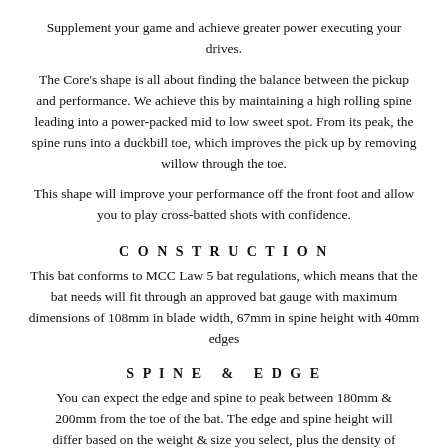Supplement your game and achieve greater power executing your drives.
The Core's shape is all about finding the balance between the pickup and performance. We achieve this by maintaining a high rolling spine leading into a power-packed mid to low sweet spot. From its peak, the spine runs into a duckbill toe, which improves the pick up by removing willow through the toe.
This shape will improve your performance off the front foot and allow you to play cross-batted shots with confidence.
CONSTRUCTION
This bat conforms to MCC Law 5 bat regulations, which means that the bat needs will fit through an approved bat gauge with maximum dimensions of 108mm in blade width, 67mm in spine height with 40mm edges
SPINE & EDGE
You can expect the edge and spine to peak between 180mm & 200mm from the toe of the bat. The edge and spine height will differ based on the weight & size you select, plus the density of